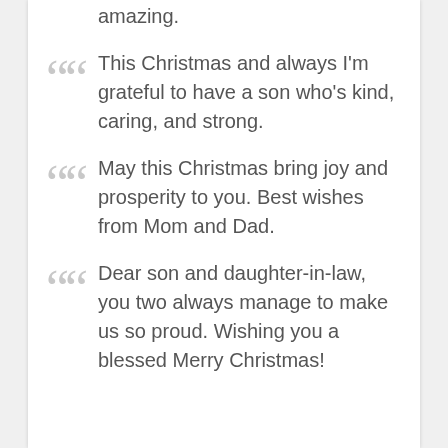amazing.
This Christmas and always I'm grateful to have a son who's kind, caring, and strong.
May this Christmas bring joy and prosperity to you. Best wishes from Mom and Dad.
Dear son and daughter-in-law, you two always manage to make us so proud. Wishing you a blessed Merry Christmas!